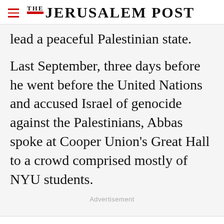THE JERUSALEM POST
lead a peaceful Palestinian state.
Last September, three days before he went before the United Nations and accused Israel of genocide against the Palestinians, Abbas spoke at Cooper Union's Great Hall to a crowd comprised mostly of NYU students.
Advertisement
Advertisement